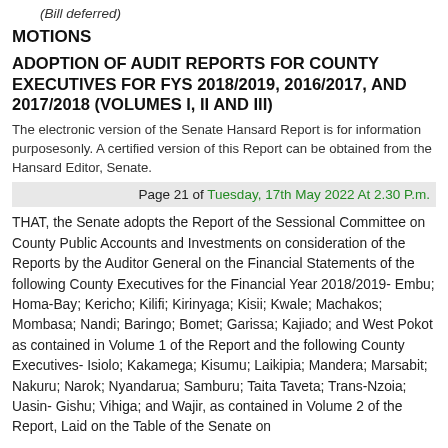(Bill deferred)
MOTIONS
ADOPTION OF AUDIT REPORTS FOR COUNTY EXECUTIVES FOR FYS 2018/2019, 2016/2017, AND 2017/2018 (VOLUMES I, II AND III)
The electronic version of the Senate Hansard Report is for information purposesonly. A certified version of this Report can be obtained from the Hansard Editor, Senate.
Page 21 of Tuesday, 17th May 2022 At 2.30 P.m.
THAT, the Senate adopts the Report of the Sessional Committee on County Public Accounts and Investments on consideration of the Reports by the Auditor General on the Financial Statements of the following County Executives for the Financial Year 2018/2019- Embu; Homa-Bay; Kericho; Kilifi; Kirinyaga; Kisii; Kwale; Machakos; Mombasa; Nandi; Baringo; Bomet; Garissa; Kajiado; and West Pokot as contained in Volume 1 of the Report and the following County Executives- Isiolo; Kakamega; Kisumu; Laikipia; Mandera; Marsabit; Nakuru; Narok; Nyandarua; Samburu; Taita Taveta; Trans-Nzoia; Uasin- Gishu; Vihiga; and Wajir, as contained in Volume 2 of the Report, Laid on the Table of the Senate on